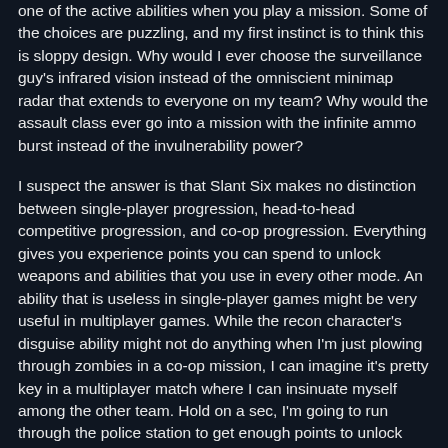one of the active abilities when you play a mission. Some of the choices are puzzling, and my first instinct is to think this is sloppy design. Why would I ever choose the surveillance guy's infrared vision instead of the omniscient minimap radar that extends to everyone on my team? Why would the assault class ever go into a mission with the infinite ammo burst instead of the invulnerability power?
I suspect the answer is that Slant Six makes no distinction between single-player progression, head-to-head competitive progression, and co-op progression. Everything gives you experience points you can spend to unlock weapons and abilities that you use in every other mode. An ability that is useless in single-player games might be very useful in multiplayer games. While the recon character's disguise ability might not do anything when I'm just plowing through zombies in a co-op mission, I can imagine it's pretty key in a multiplayer match where I can insinuate myself among the other team. Hold on a sec, I'm going to run through the police station to get enough points to unlock that ability.